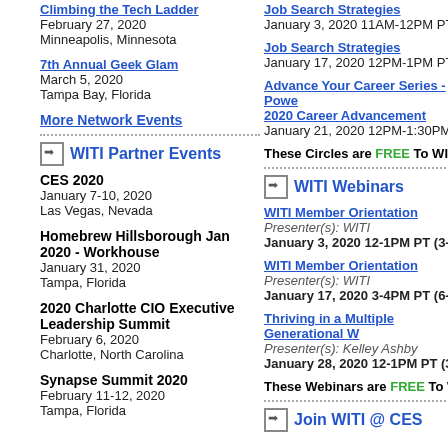Climbing the Tech Ladder
February 27, 2020
Minneapolis, Minnesota
7th Annual Geek Glam
March 5, 2020
Tampa Bay, Florida
More Network Events
WITI Partner Events
CES 2020
January 7-10, 2020
Las Vegas, Nevada
Homebrew Hillsborough Jan 2020 - Workhouse
January 31, 2020
Tampa, Florida
2020 Charlotte CIO Executive Leadership Summit
February 6, 2020
Charlotte, North Carolina
Synapse Summit 2020
February 11-12, 2020
Tampa, Florida
Job Search Strategies
January 3, 2020 11AM-12PM PT (2-3...
Job Search Strategies
January 17, 2020 12PM-1PM PT (3-4...
Advance Your Career Series - Power 2020 Career Advancement
January 21, 2020 12PM-1:30PM PT (3...
These Circles are FREE To WITI Members
WITI Webinars
WITI Member Orientation
Presenter(s): WITI
January 3, 2020 12-1PM PT (3-4PM ET)
WITI Member Orientation
Presenter(s): WITI
January 17, 2020 3-4PM PT (6-7PM ET)
Thriving in a Multiple Generational Workplace
Presenter(s): Kelley Ashby
January 28, 2020 12-1PM PT (3-4PM ET)
These Webinars are FREE To WITI Members
Join WITI @ CES